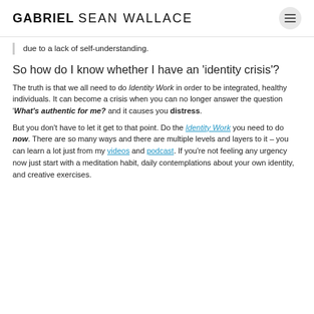GABRIEL SEAN WALLACE
due to a lack of self-understanding.
So how do I know whether I have an 'identity crisis'?
The truth is that we all need to do Identity Work in order to be integrated, healthy individuals. It can become a crisis when you can no longer answer the question 'What's authentic for me? and it causes you distress.
But you don't have to let it get to that point. Do the Identity Work you need to do now. There are so many ways and there are multiple levels and layers to it – you can learn a lot just from my videos and podcast. If you're not feeling any urgency now just start with a meditation habit, daily contemplations about your own identity, and creative exercises.